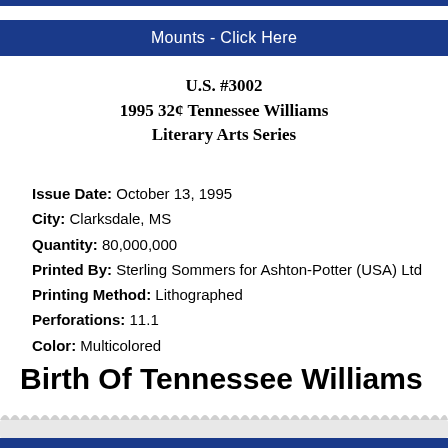Mounts - Click Here
U.S. #3002
1995 32¢ Tennessee Williams
Literary Arts Series
Issue Date: October 13, 1995
City: Clarksdale, MS
Quantity: 80,000,000
Printed By: Sterling Sommers for Ashton-Potter (USA) Ltd
Printing Method: Lithographed
Perforations: 11.1
Color: Multicolored
Birth Of Tennessee Williams